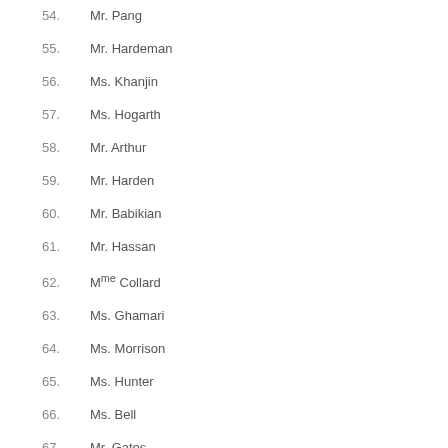54. Mr. Pang
55. Mr. Hardeman
56. Ms. Khanjin
57. Ms. Hogarth
58. Mr. Arthur
59. Mr. Harden
60. Mr. Babikian
61. Mr. Hassan
62. Mme Collard
63. Ms. Ghamari
64. Ms. Morrison
65. Ms. Hunter
66. Ms. Bell
67. Mr. Gates